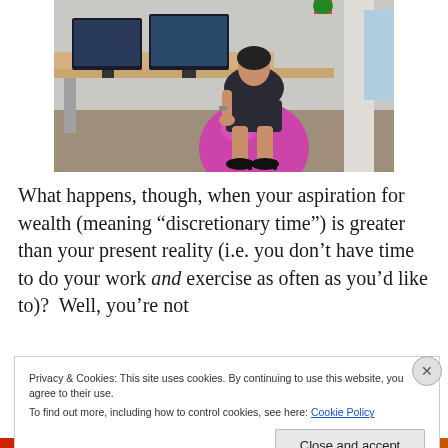[Figure (photo): A woman in a dark business suit sitting on a pink exercise/stability ball next to an office desk with computer monitors in the background.]
What happens, though, when your aspiration for wealth (meaning “discretionary time”) is greater than your present reality (i.e. you don’t have time to do your work and exercise as often as you’d like to)?  Well, you’re not
Privacy & Cookies: This site uses cookies. By continuing to use this website, you agree to their use.
To find out more, including how to control cookies, see here: Cookie Policy
Close and accept